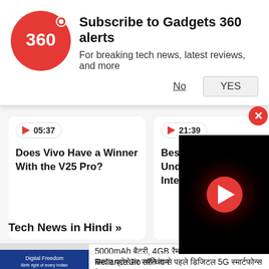[Figure (screenshot): Gadgets 360 notification subscription banner with red circular logo showing '360', title 'Subscribe to Gadgets 360 alerts', subtitle 'For breaking tech news, latest reviews, and more', with 'No' and 'YES' buttons]
[Figure (screenshot): Video card with timestamp 05:37 and title 'Does Vivo Have a Winner With the V25 Pro?']
[Figure (screenshot): Video card with timestamp 21:39 and title 'Best Camera Phone Under Rs. 40,000 and Interview With Cornin...']
Tech News in Hindi »
5000mAh बैटरी, 4GB रैम और दमदार प्रोसेसर सस्ते दाम
[Figure (screenshot): Dark video player overlay with red play button circle on black background]
Reliance Jio लॉन्चिंग से पहले डिजिटल 5G स्मार्टफोन्स के